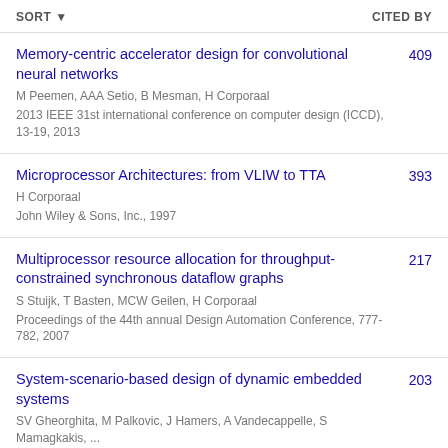SORT   CITED BY
Memory-centric accelerator design for convolutional neural networks | M Peemen, AAA Setio, B Mesman, H Corporaal | 2013 IEEE 31st international conference on computer design (ICCD), 13-19, 2013 | 409
Microprocessor Architectures: from VLIW to TTA | H Corporaal | John Wiley & Sons, Inc., 1997 | 393
Multiprocessor resource allocation for throughput-constrained synchronous dataflow graphs | S Stuijk, T Basten, MCW Geilen, H Corporaal | Proceedings of the 44th annual Design Automation Conference, 777-782, 2007 | 217
System-scenario-based design of dynamic embedded systems | SV Gheorghita, M Palkovic, J Hamers, A Vandecappelle, S Mamagkakis, ... | ACM Transactions on Design Automation of Electronic Systems (TODAES), 2009 | 203